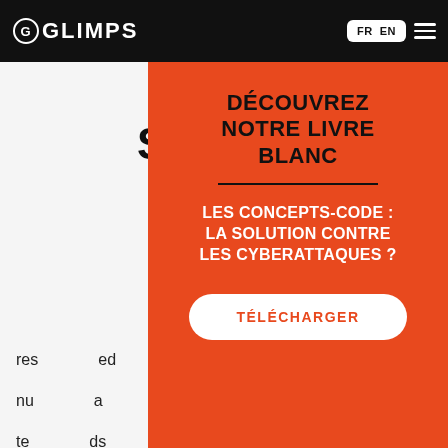GLIMPS  FR EN
SO... ...AL
DÉCOUVREZ NOTRE LIVRE BLANC
LES CONCEPTS-CODE : LA SOLUTION CONTRE LES CYBERATTAQUES ?
TÉLÉCHARGER
res... ...ed nu... ...a te... ...ds of thousands of files per day for its customers. Our solutions can be